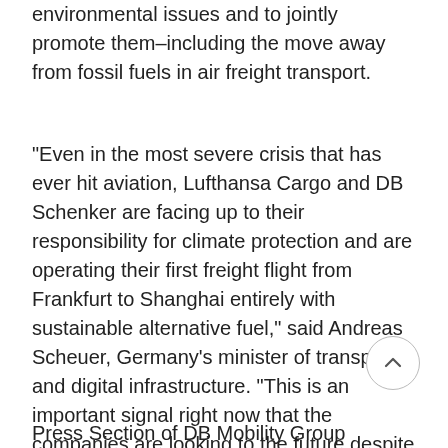environmental issues and to jointly promote them–including the move away from fossil fuels in air freight transport.
"Even in the most severe crisis that has ever hit aviation, Lufthansa Cargo and DB Schenker are facing up to their responsibility for climate protection and are operating their first freight flight from Frankfurt to Shanghai entirely with sustainable alternative fuel," said Andreas Scheuer, Germany's minister of transport and digital infrastructure. "This is an important signal right now that the companies are looking to the future despite all the concerns and are taking important steps to make aviation more sustainable."
Press Section of DB Mobility Group